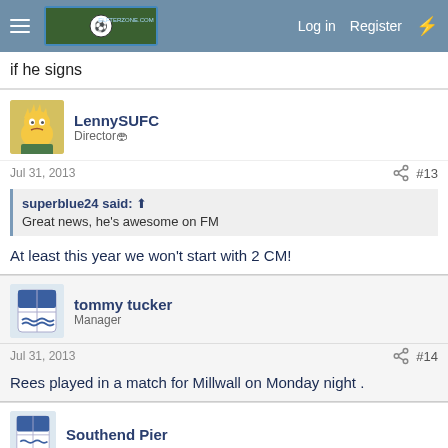Navigation bar with menu, logo, Log in, Register
if he signs
LennySUFC
Director
Jul 31, 2013   #13
superblue24 said: ↑
Great news, he's awesome on FM
At least this year we won't start with 2 CM!
tommy tucker
Manager
Jul 31, 2013   #14
Rees played in a match for Millwall on Monday night .
Southend Pier